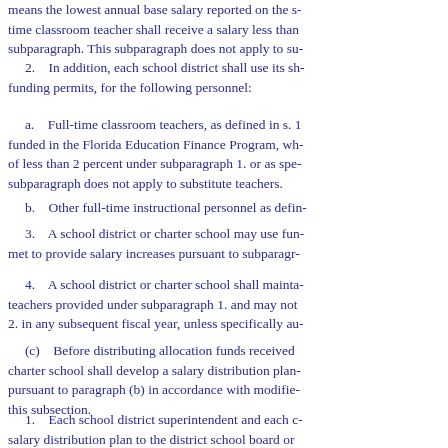means the lowest annual base salary reported on the s- time classroom teacher shall receive a salary less than subparagraph. This subparagraph does not apply to su-
2. In addition, each school district shall use its sh- funding permits, for the following personnel:
a. Full-time classroom teachers, as defined in s. 1 funded in the Florida Education Finance Program, wh- of less than 2 percent under subparagraph 1. or as spe- subparagraph does not apply to substitute teachers.
b. Other full-time instructional personnel as defi-
3. A school district or charter school may use fu- met to provide salary increases pursuant to subparagr-
4. A school district or charter school shall mainta- teachers provided under subparagraph 1. and may not 2. in any subsequent fiscal year, unless specifically au-
(c) Before distributing allocation funds received charter school shall develop a salary distribution plan pursuant to paragraph (b) in accordance with modifie- this subsection.
1. Each school district superintendent and each c- salary distribution plan to the district school board or approval.